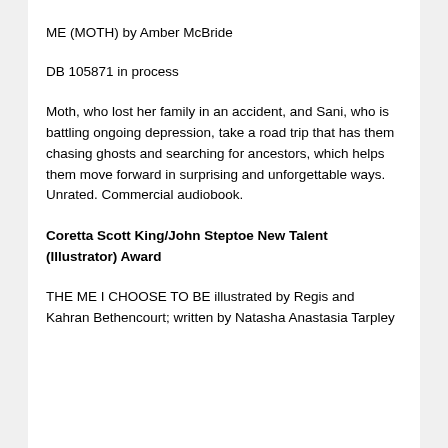ME (MOTH) by Amber McBride
DB 105871 in process
Moth, who lost her family in an accident, and Sani, who is battling ongoing depression, take a road trip that has them chasing ghosts and searching for ancestors, which helps them move forward in surprising and unforgettable ways. Unrated. Commercial audiobook.
Coretta Scott King/John Steptoe New Talent (Illustrator) Award
THE ME I CHOOSE TO BE illustrated by Regis and Kahran Bethencourt; written by Natasha Anastasia Tarpley